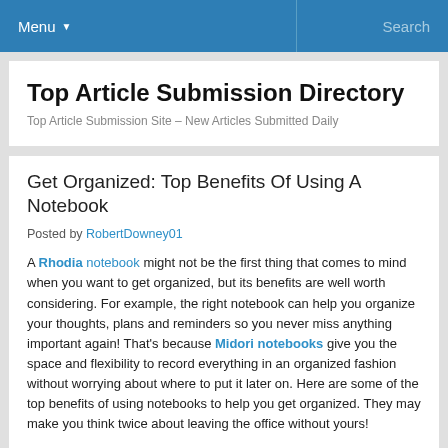Menu   Search
Top Article Submission Directory
Top Article Submission Site – New Articles Submitted Daily
Get Organized: Top Benefits Of Using A Notebook
Posted by RobertDowney01
A Rhodia notebook might not be the first thing that comes to mind when you want to get organized, but its benefits are well worth considering. For example, the right notebook can help you organize your thoughts, plans and reminders so you never miss anything important again! That's because Midori notebooks give you the space and flexibility to record everything in an organized fashion without worrying about where to put it later on. Here are some of the top benefits of using notebooks to help you get organized. They may make you think twice about leaving the office without yours!